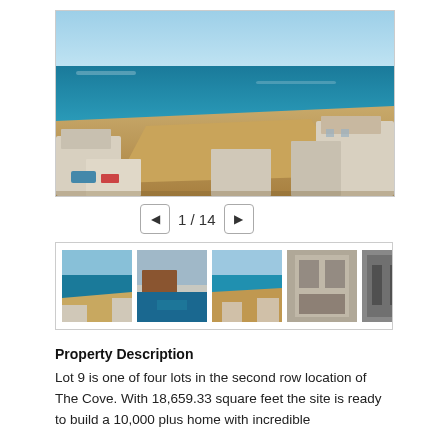[Figure (photo): Aerial drone photo of a coastal property development site showing sandy lots surrounded by partially constructed white buildings, with the ocean visible in the background under a clear sky.]
1 / 14
[Figure (photo): Row of five thumbnail photos of the same coastal property from different angles.]
Property Description
Lot 9 is one of four lots in the second row location of The Cove. With 18,659.33 square feet the site is ready to build a 10,000 plus home with incredible